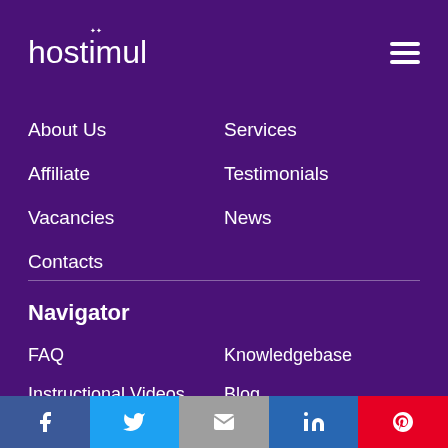hostimul
About Us
Services
Affiliate
Testimonials
Vacancies
News
Contacts
Navigator
FAQ
Knowledgebase
Instructional Videos
Blog
Useful Links
Facebook | Twitter | Email | LinkedIn | Pinterest